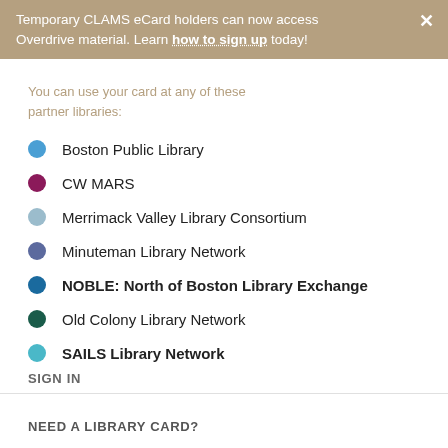Temporary CLAMS eCard holders can now access Overdrive material. Learn how to sign up today!
You can use your card at any of these partner libraries:
Boston Public Library
CW MARS
Merrimack Valley Library Consortium
Minuteman Library Network
NOBLE: North of Boston Library Exchange
Old Colony Library Network
SAILS Library Network
SIGN IN
NEED A LIBRARY CARD?